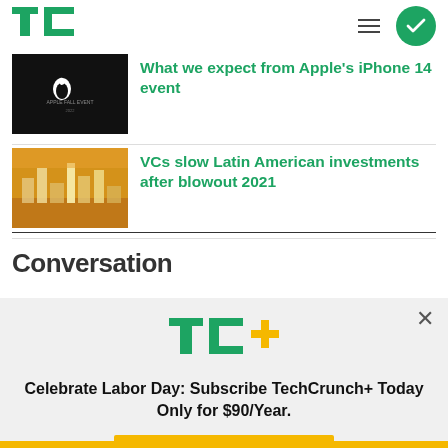TechCrunch (TC logo) navigation header
What we expect from Apple's iPhone 14 event
VCs slow Latin American investments after blowout 2021
Conversation
[Figure (infographic): TechCrunch+ subscription modal: logo, headline 'Celebrate Labor Day: Subscribe TechCrunch+ Today Only for $90/Year.', GET OFFER NOW button]
Celebrate Labor Day: Subscribe TechCrunch+ Today Only for $90/Year.
GET OFFER NOW